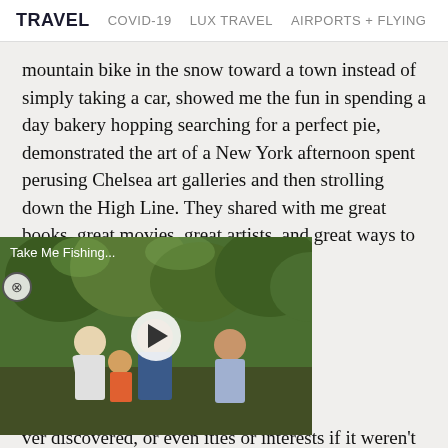TRAVEL   COVID-19   LUX TRAVEL   AIRPORTS + FLYING
mountain bike in the snow toward a town instead of simply taking a car, showed me the fun in spending a day bakery hopping searching for a perfect pie, demonstrated the art of a New York afternoon spent perusing Chelsea art galleries and then strolling down the High Line. They shared with me great books, great movies, great artists, and great ways to [video overlay] ver discovered, or even ities or interests if it weren’t for the partners who showed me firsthand how amazing they could be. They introduced me to experiences I would have otherwise assumed were inaccessible, or just “not for me.” Through their
[Figure (screenshot): Video overlay showing 'Take Me Fishing...' title with play button, featuring people outdoors in a park-like setting]